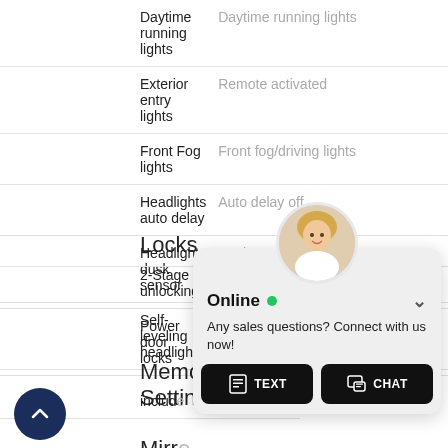| Feature | Description |
| --- | --- |
| Daytime running lights | Daytime running lights |
| Exterior entry lights | Remote activated |
| Front Fog lights | Front fog/driving lights |
| Headlights auto delay | Auto delay off |
| Headlights dusk sensor | Dusk sensing |
| Self-leveling headlights | Self-leveling |
Locks
| Feature | Description |
| --- | --- |
| 2-Stage unlocking | 2-stage unlocking |
| Power door locks | Remote power door locks |
Memorized Settings
| Feature | Description |
| --- | --- |
| includes |  |
| Number of |  |
| seat memory |  |
Mirrors
[Figure (screenshot): Online chat widget overlay with avatar photo of a blond woman, showing 'Online' status with green dot, message 'Any sales questions? Connect with us now!' and two buttons: TEXT and CHAT]